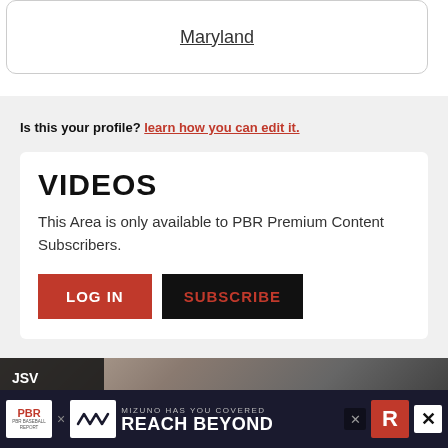Maryland
Is this your profile? learn how you can edit it.
VIDEOS
This Area is only available to PBR Premium Content Subscribers.
LOG IN
SUBSCRIBE
JSV
[Figure (screenshot): Advertisement banner: PBR x Mizuno 'REACH BEYOND' promotion with close buttons]
[Figure (photo): Sports action photo background in dark tones]